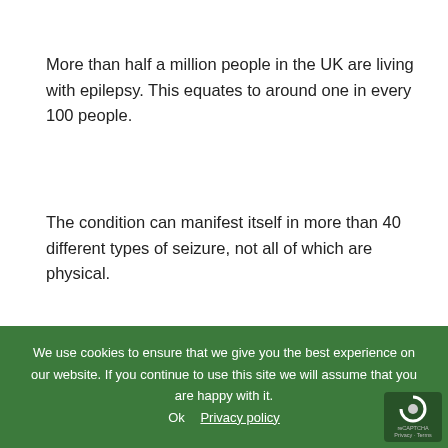More than half a million people in the UK are living with epilepsy. This equates to around one in every 100 people.
The condition can manifest itself in more than 40 different types of seizure, not all of which are physical.
Currently there are no epilepsy-preventing medications. The anti-epileptic drugs on offer are only able to reduce seizures in people who have already developed the condition.
University of Liverpool researchers have therefore been working to find a treatment that could be given to people after th...
They are asking for people living with the condition, as well as their family and friends, to complete their online 'ST...
We use cookies to ensure that we give you the best experience on our website. If you continue to use this site we will assume that you are happy with it.